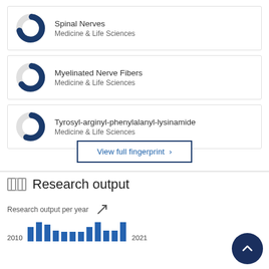[Figure (donut-chart): Donut chart approximately 70% filled in dark blue]
Spinal Nerves
Medicine & Life Sciences
[Figure (donut-chart): Donut chart approximately 65% filled in dark blue]
Myelinated Nerve Fibers
Medicine & Life Sciences
[Figure (donut-chart): Donut chart approximately 55% filled in dark blue]
Tyrosyl-arginyl-phenylalanyl-lysinamide
Medicine & Life Sciences
View full fingerprint ›
Research output
Research output per year
[Figure (bar-chart): Research output per year]